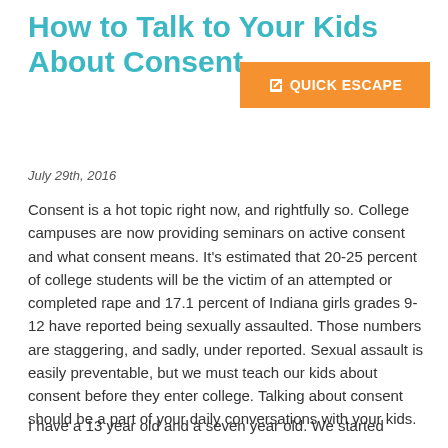How to Talk to Your Kids About Consent
QUICK ESCAPE
July 29th, 2016
Consent is a hot topic right now, and rightfully so. College campuses are now providing seminars on active consent and what consent means. It's estimated that 20-25 percent of college students will be the victim of an attempted or completed rape and 17.1 percent of Indiana girls grades 9-12 have reported being sexually assaulted. Those numbers are staggering, and sadly, under reported. Sexual assault is easily preventable, but we must teach our kids about consent before they enter college. Talking about consent should be a part of your daily conversations with your kids.
I have a 13 year old and a seven year old. We started